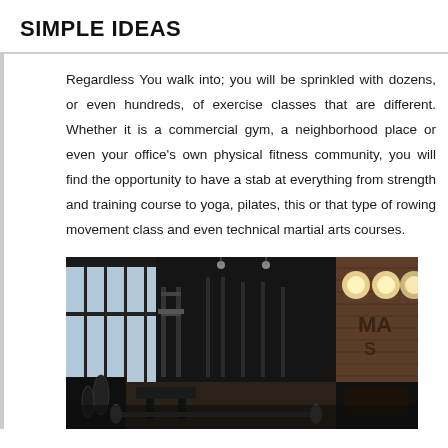SIMPLE IDEAS
Regardless You walk into; you will be sprinkled with dozens, or even hundreds, of exercise classes that are different. Whether it is a commercial gym, a neighborhood place or even your office's own physical fitness community, you will find the opportunity to have a stab at everything from strength and training course to yoga, pilates, this or that type of rowing movement class and even technical martial arts courses.
[Figure (photo): Interior of a gym with large windows, squat racks, barbells, and exercise equipment. Brick wall visible on the right with spotlights. Dark industrial ceiling.]